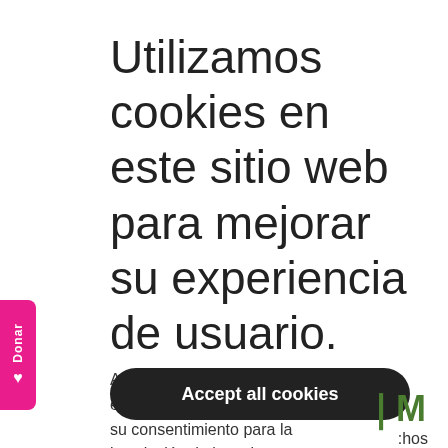Utilizamos cookies en este sitio web para mejorar su experiencia de usuario.
Al hacer clic en cualquier enlace de este sitio web usted nos está dando su consentimiento para la instalación de las mismas en su navegador.
chos
Accept all cookies
[Figure (logo): Green letter M logo in bottom right corner]
Donar